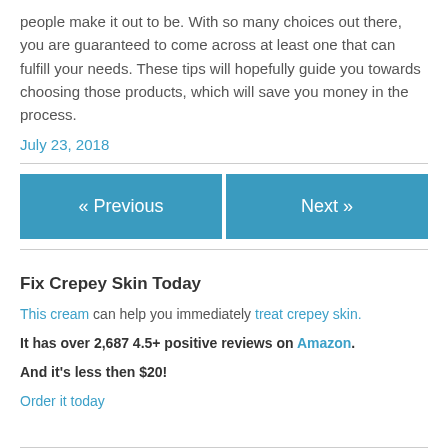people make it out to be. With so many choices out there, you are guaranteed to come across at least one that can fulfill your needs. These tips will hopefully guide you towards choosing those products, which will save you money in the process.
July 23, 2018
« Previous
Next »
Fix Crepey Skin Today
This cream can help you immediately treat crepey skin.
It has over 2,687 4.5+ positive reviews on Amazon.
And it's less then $20!
Order it today